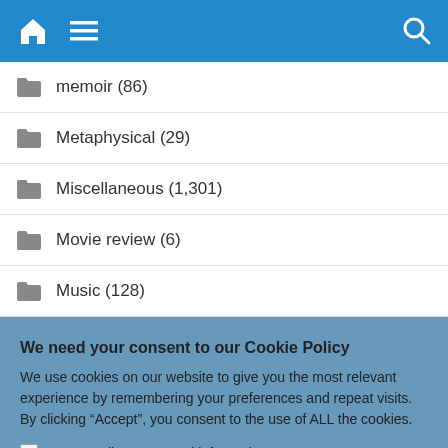Navigation bar with home icon, menu icon, and search icon
memoir (86)
Metaphysical (29)
Miscellaneous (1,301)
Movie review (6)
Music (128)
We need your consent to our Cookie Policy
We use cookies on our website to give you the most relevant experience by remembering your preferences and repeat visits. By clicking “Accept”, you consent to the use of ALL the cookies.
Do not sell my personal information.
Cookie Settings | Accept